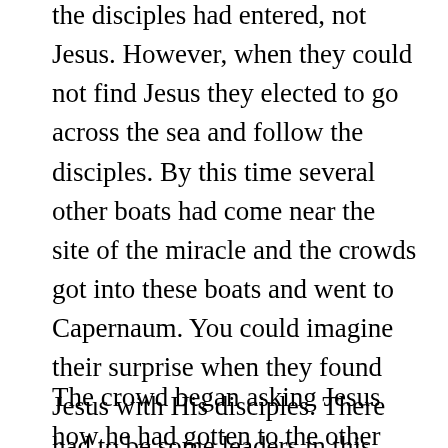the disciples had entered, not Jesus. However, when they could not find Jesus they elected to go across the sea and follow the disciples. By this time several other boats had come near the site of the miracle and the crowds got into these boats and went to Capernaum. You could imagine their surprise when they found Jesus with His disciples. There had to be some leaders in this crowd to move such a large contingency to the other side of the water. Mind you, I doubt it was all five thousand, but I'll bet it was a pretty big group that went to Capernaum. And I will also wager that there were more than a few of the religious leadership among them.
The crowd began asking Jesus how he had gotten to the other side. With the attempt to make him king on the